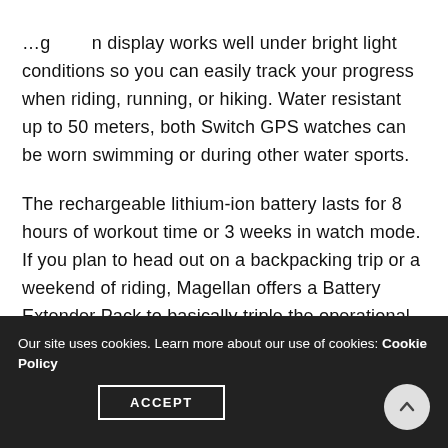…n display works well under bright light conditions so you can easily track your progress when riding, running, or hiking. Water resistant up to 50 meters, both Switch GPS watches can be worn swimming or during other water sports.
The rechargeable lithium-ion battery lasts for 8 hours of workout time or 3 weeks in watch mode. If you plan to head out on a backpacking trip or a weekend of riding, Magellan offers a Battery Extender Pack to basically triple the operational time of your GPS watch.
Our site uses cookies. Learn more about our use of cookies: Cookie Policy   ACCEPT